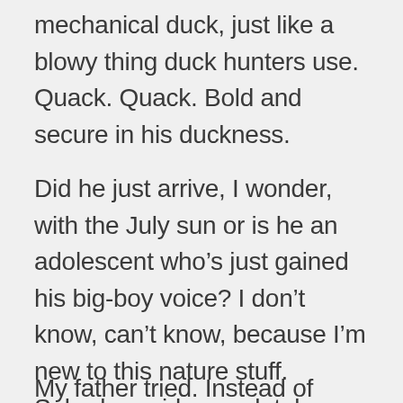mechanical duck, just like a blowy thing duck hunters use. Quack. Quack. Bold and secure in his duckness.
Did he just arrive, I wonder, with the July sun or is he an adolescent who’s just gained his big-boy voice? I don’t know, can’t know, because I’m new to this nature stuff. Suburban girl, completely unschooled.
My father tried. Instead of